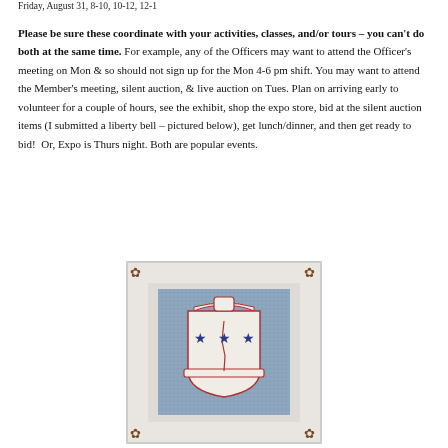Friday, August 31, 8-10, 10-12, 12-1
Please be sure these coordinate with your activities, classes, and/or tours – you can't do both at the same time. For example, any of the Officers may want to attend the Officer's meeting on Mon & so should not sign up for the Mon 4-6 pm shift. You may want to attend the Member's meeting, silent auction, & live auction on Tues. Plan on arriving early to volunteer for a couple of hours, see the exhibit, shop the expo store, bid at the silent auction items (I submitted a liberty bell – pictured below), get lunch/dinner, and then get ready to bid!  Or, Expo is Thurs night. Both are popular events.
[Figure (photo): Needlepoint liberty bell design in blue, red, and white with three stars, mounted in a mat with decorative corner ornaments, shown in a photograph]